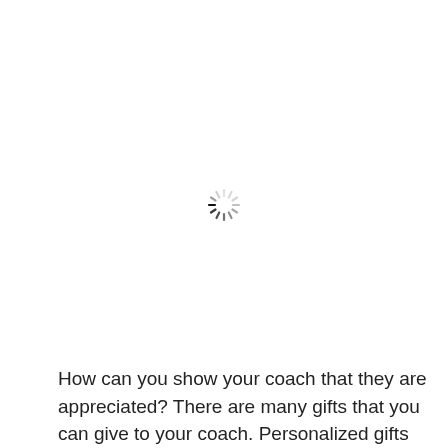[Figure (other): A loading spinner icon (circular dashed wheel) centered on the page, indicating content is loading.]
How can you show your coach that they are appreciated? There are many gifts that you can give to your coach. Personalized gifts